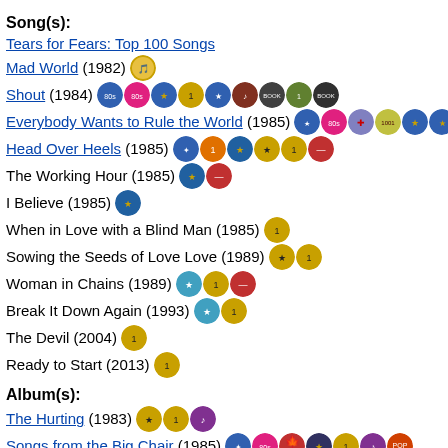Song(s):
Tears for Fears: Top 100 Songs
Mad World (1982)
Shout (1984)
Everybody Wants to Rule the World (1985)
Head Over Heels (1985)
The Working Hour (1985)
I Believe (1985)
When in Love with a Blind Man (1985)
Sowing the Seeds of Love Love (1989)
Woman in Chains (1989)
Break It Down Again (1993)
The Devil (2004)
Ready to Start (2013)
Album(s):
The Hurting (1983)
Songs from the Big Chair (1985)
The Seeds of Love (1989)
Tears Roll Down (compilation: 1982-92, released 1992)